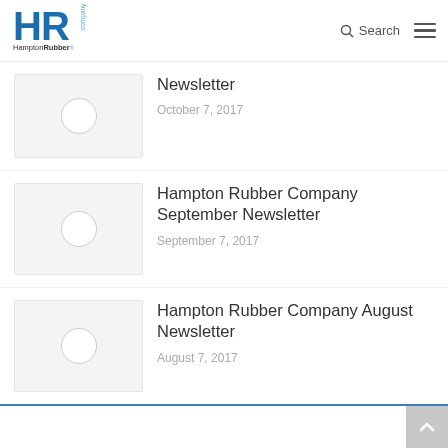[Figure (logo): Hampton Rubber Company logo with HR initials in blue]
Newsletter
October 7, 2017
Hampton Rubber Company September Newsletter
September 7, 2017
Hampton Rubber Company August Newsletter
August 7, 2017
Back to top button